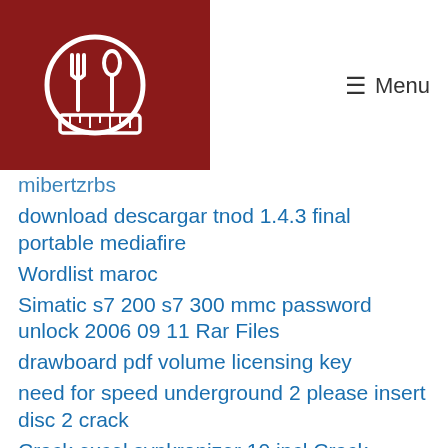Menu
mibertzrbs
download descargar tnod 1.4.3 final portable mediafire
Wordlist maroc
Simatic s7 200 s7 300 mmc password unlock 2006 09 11 Rar Files
drawboard pdf volume licensing key
need for speed underground 2 please insert disc 2 crack
Crack excel synkronizer 10 incl Crack
Desperate Housewives Season 4 Torrent Complete
Assassins Creed Revelations Gold Edition Multi11 Repack Mr DJ CODEX
We Turkey 8 Full Indir